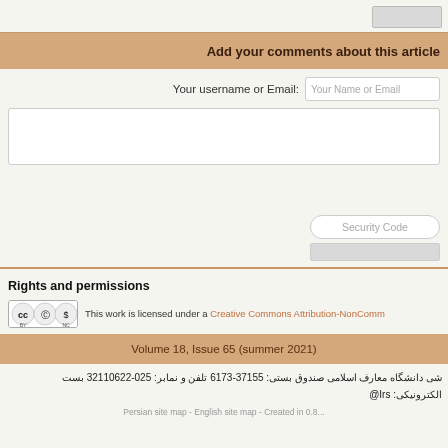Add your comments about this article
Your username or Email:
Rights and permissions
This work is licensed under a Creative Commons Attribution-NonCommercial...
Volume 18, Issue 65 (summer 2021)
دانشگاه معارف اسلامی صندوق بستی: 37155-6173 تلفن و نمابر: 025-32110622 بست الکترونیکی: Irs@
Persian site map - English site map - Created in 0.8...